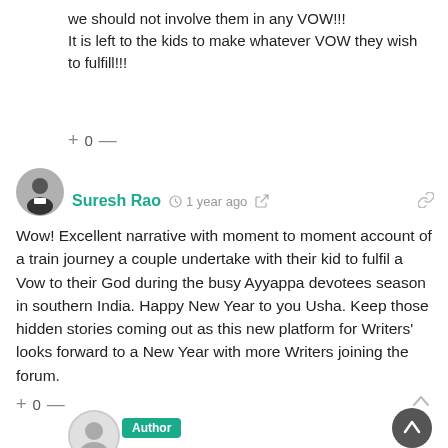we should not involve them in any VOW!!!
It is left to the kids to make whatever VOW they wish to fulfill!!!
+ 0 —
Suresh Rao  1 year ago
Wow! Excellent narrative with moment to moment account of a train journey a couple undertake with their kid to fulfil a Vow to their God during the busy Ayyappa devotees season in southern India. Happy New Year to you Usha. Keep those hidden stories coming out as this new platform for Writers' looks forward to a New Year with more Writers joining the forum.
+ 0 —
Author